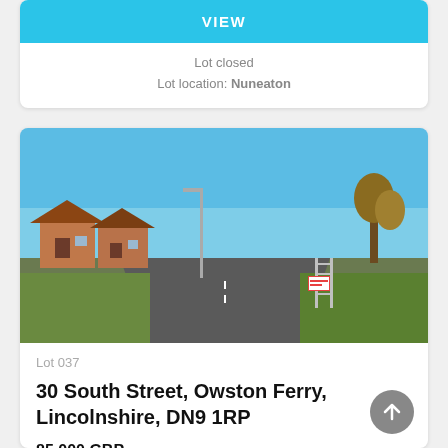VIEW
Lot closed
Lot location: Nuneaton
[Figure (photo): Street-level photograph of a residential road in Owston Ferry, Lincolnshire. Shows bungalow-style brick houses on the left side, a straight road leading into the distance, green grass verge on the right, and a clear blue sky above.]
Lot 037
30 South Street, Owston Ferry, Lincolnshire, DN9 1RP
85,000 GBP
Closing bid